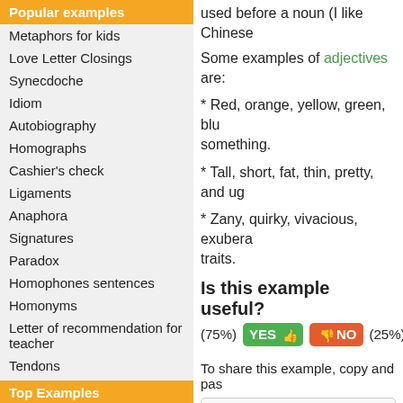Popular examples
Metaphors for kids
Love Letter Closings
Synecdoche
Idiom
Autobiography
Homographs
Cashier's check
Ligaments
Anaphora
Signatures
Paradox
Homophones sentences
Homonyms
Letter of recommendation for teacher
Tendons
Top Examples
Metaphors for kids
used before a noun (I like Chinese...
Some examples of adjectives are:
* Red, orange, yellow, green, blu... something.
* Tall, short, fat, thin, pretty, and ug...
* Zany, quirky, vivacious, exuberan... traits.
Is this example useful?
(75%) YES 👍 👎 NO (25%)
To share this example, copy and pas...
<a href="http://www.examples10.co...